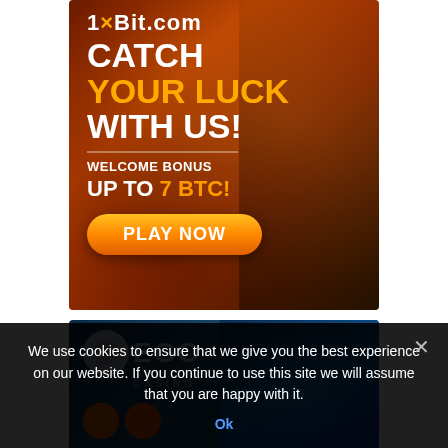[Figure (illustration): 1xBit.com casino advertisement with dark orange/brown background, warrior character, gold coins, text 'CATCH YOUR LUCK WITH US! WELCOME BONUS UP TO 7 BTC!' and orange 'PLAY NOW' button]
[Figure (illustration): Ego Casino advertisement with dark blue background, casino logo with circle icon, 'eGO CASINO' text, orange dots, and a glowing blue-lit figure/person on the right]
We use cookies to ensure that we give you the best experience on our website. If you continue to use this site we will assume that you are happy with it.
Ok